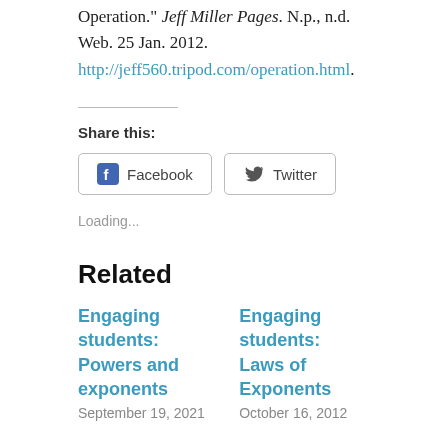Operation." Jeff Miller Pages. N.p., n.d. Web. 25 Jan. 2012. http://jeff560.tripod.com/operation.html.
Share this:
[Figure (other): Social share buttons: Facebook and Twitter]
Loading...
Related
Engaging students: Powers and exponents
Engaging students: Laws of Exponents